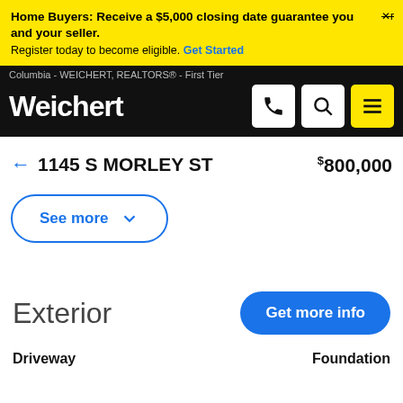Home Buyers: Receive a $5,000 closing date guarantee for you and your seller. Register today to become eligible. Get Started
Columbia - WEICHERT, REALTORS® - First Tier
[Figure (logo): Weichert logo with phone, search, and menu icons]
← 1145 S MORLEY ST  $800,000
See more ∨
Exterior
Get more info
Driveway   Foundation